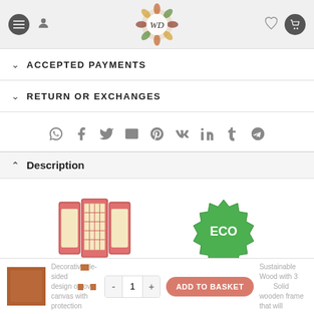[Figure (screenshot): Website header with hamburger menu icon, user icon, WD logo (floral design), heart icon, and cart icon]
ACCEPTED PAYMENTS
RETURN OR EXCHANGES
[Figure (infographic): Social sharing icons row: WhatsApp, Facebook, Twitter, Email, Pinterest, VK, LinkedIn, Tumblr, Telegram]
Description
[Figure (illustration): Decorative folding screen / room divider icon in red/pink and beige]
[Figure (logo): ECO green badge/stamp logo]
Decorativ  le-sided design o   ov   canvas with protection
Sustainable Wood with 3 Solid wooden frame that will